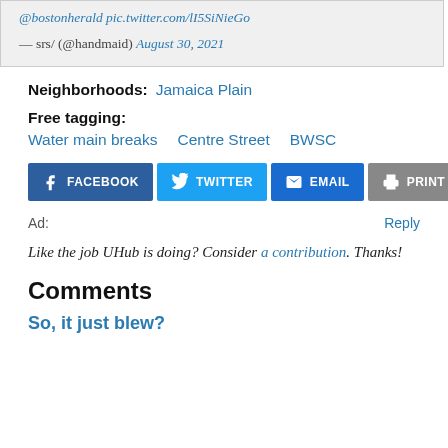[Figure (screenshot): Tweet screenshot box with text '@bostonherald pic.twitter.com/lI5SiNieGo' and attribution '— srs/ (@handmaid) August 30, 2021' on grey background]
Neighborhoods: Jamaica Plain
Free tagging:
Water main breaks   Centre Street   BWSC
[Figure (screenshot): Social sharing buttons: FACEBOOK, TWITTER, EMAIL, PRINT]
Ad:
Reply
Like the job UHub is doing? Consider a contribution. Thanks!
Comments
So, it just blew?